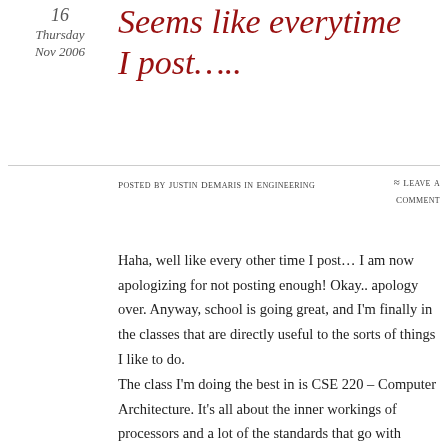16
Thursday
Nov 2006
Seems like everytime I post…..
Posted by Justin DeMaris in Engineering ≈ Leave a comment
Haha, well like every other time I post… I am now apologizing for not posting enough! Okay.. apology over. Anyway, school is going great, and I'm finally in the classes that are directly useful to the sorts of things I like to do.
The class I'm doing the best in is CSE 220 – Computer Architecture. It's all about the inner workings of processors and a lot of the standards that go with modern processor design, from ALU circuit design to the IEEE 754 standard for floating point numbers. Oh, and my favorite part, MIPS assembly